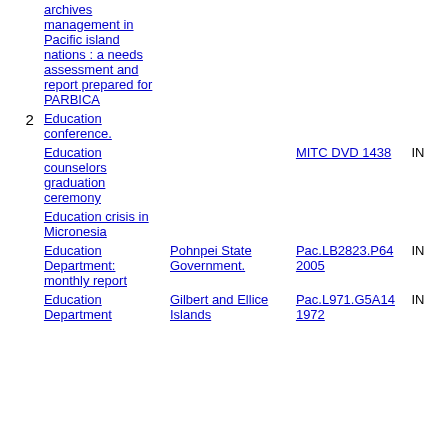| # | Title | Author | Call Number | Status |
| --- | --- | --- | --- | --- |
|  | archives management in Pacific island nations : a needs assessment and report prepared for PARBICA |  |  |  |
| 2 | Education conference. |  |  |  |
|  | Education counselors graduation ceremony |  | MITC DVD 1438 | IN |
|  | Education crisis in Micronesia |  |  |  |
|  | Education Department: monthly report | Pohnpei State Government. | Pac.LB2823.P64 2005 | IN |
|  | Education Department | Gilbert and Ellice Islands | Pac.L971.G5A14 1972 | IN |